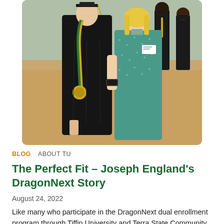[Figure (photo): Two people posing together at a graduation ceremony. One person is wearing a black graduation gown with a green and gold honor cord and medallion. The other person is wearing a teal/blue patterned dress. Other graduates in black gowns are visible in the background in what appears to be a gymnasium.]
BLOG  ABOUT TU
The Perfect Fit – Joseph England's DragonNext Story
August 24, 2022
Like many who participate in the DragonNext dual enrollment program through Tiffin University and Terra State Community College, Joseph (Joey)